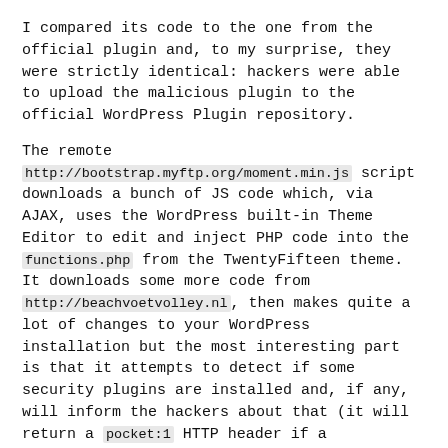I compared its code to the one from the official plugin and, to my surprise, they were strictly identical: hackers were able to upload the malicious plugin to the official WordPress Plugin repository.
The remote http://bootstrap.myftp.org/moment.min.js script downloads a bunch of JS code which, via AJAX, uses the WordPress built-in Theme Editor to edit and inject PHP code into the functions.php from the TwentyFifteen theme.
It downloads some more code from http://beachvoetvolley.nl, then makes quite a lot of changes to your WordPress installation but the most interesting part is that it attempts to detect if some security plugins are installed and, if any, will inform the hackers about that (it will return a pocket:1 HTTP header if a security plugin is detected):